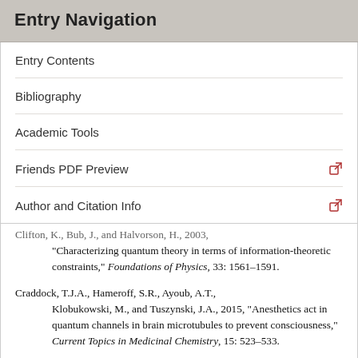Entry Navigation
Entry Contents
Bibliography
Academic Tools
Friends PDF Preview
Author and Citation Info
Clifton, K., Bub, J., and Halvorson, H., 2003, “Characterizing quantum theory in terms of information-theoretic constraints,” Foundations of Physics, 33: 1561–1591.
Craddock, T.J.A., Hameroff, S.R., Ayoub, A.T., Klobukowski, M., and Tuszynski, J.A., 2015, “Anesthetics act in quantum channels in brain microtubules to prevent consciousness,” Current Topics in Medicinal Chemistry, 15: 523–533.
de Gosson, M.A., and Hiley, B., 2013, “Hamiltonian flows and the holomovement,” Mind and Matter, 11: